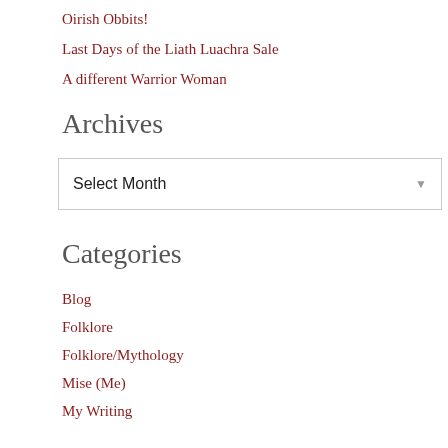Oirish Obbits!
Last Days of the Liath Luachra Sale
A different Warrior Woman
Archives
[Figure (other): A dropdown select box labeled 'Select Month' with a downward arrow on the right]
Categories
Blog
Folklore
Folklore/Mythology
Mise (Me)
My Writing
Short Stories
Uncategorized